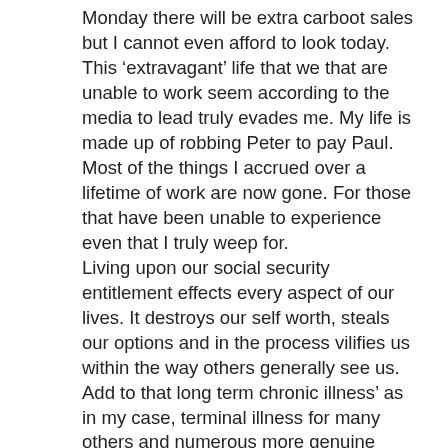Monday there will be extra carboot sales but I cannot even afford to look today.
This ‘extravagant’ life that we that are unable to work seem according to the media to lead truly evades me. My life is made up of robbing Peter to pay Paul.
Most of the things I accrued over a lifetime of work are now gone. For those that have been unable to experience even that I truly weep for.
Living upon our social security entitlement effects every aspect of our lives. It destroys our self worth, steals our options and in the process vilifies us within the way others generally see us.
Add to that long term chronic illness’ as in my case, terminal illness for many others and numerous more genuine reasons for peoples forced abstention from work and you have a pretty naff existence.
Yes people have it worse than me. I get that and would and do stand up wholeheartedly for them. But its perspective too. I only experience my own lot. I can only